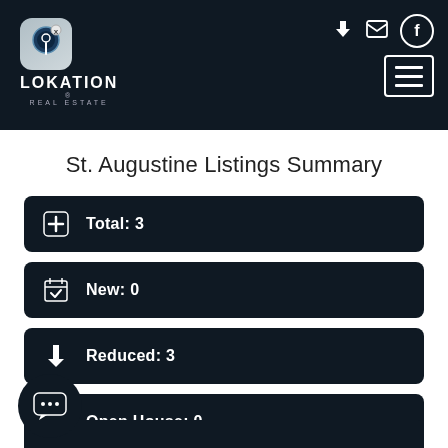[Figure (logo): Lokation Real Estate logo with location pin icon on dark navy header bar with hamburger menu and nav icons]
St. Augustine Listings Summary
Total: 3
New: 0
Reduced: 3
Open House: 0